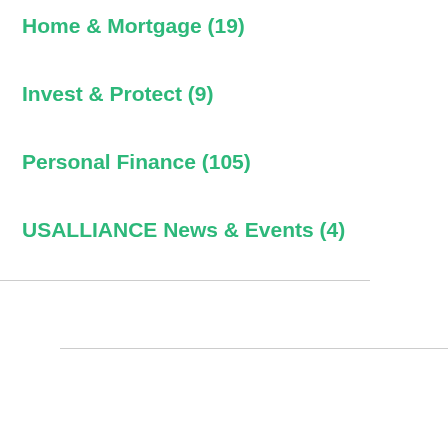Home & Mortgage (19)
Invest & Protect (9)
Personal Finance (105)
USALLIANCE News & Events (4)
< Read The Previous Post
Read The Next Post >